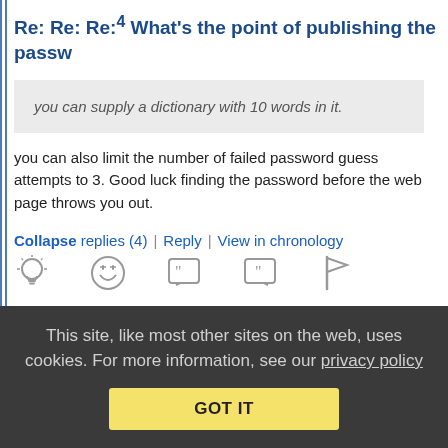Re: Re: Re:4 What's the point of publishing the passw
you can supply a dictionary with 10 words in it.
you can also limit the number of failed password guess attempts to 3. Good luck finding the password before the web page throws you out.
Collapse replies (4) | Reply | View in chronology
[Figure (infographic): Row of action icons: lightbulb, laughing emoji, open-quote speech bubble, close-quote speech bubble, flag]
This site, like most other sites on the web, uses cookies. For more information, see our privacy policy
GOT IT